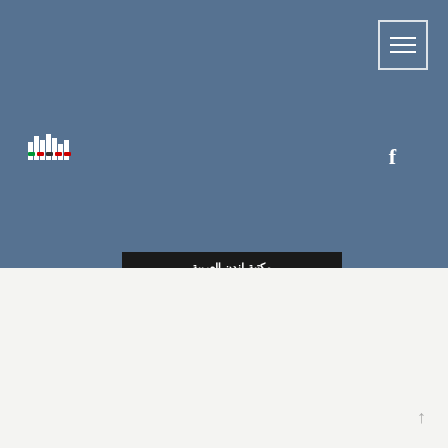[Figure (logo): Website logo with building/city skyline icon and multicolored flag icons below, white on blue background]
[Figure (screenshot): Hamburger menu button (three horizontal lines) in white border square, top right]
[Figure (logo): Facebook icon 'f' in white, upper right area of blue header]
[Figure (screenshot): Dark banner with white Arabic/stylized text near the bottom of the blue section]
[Figure (logo): Facebook icon 'f' in gray, in the footer white section]
COPYRIGHT 2022 - TAKE ME TO LONDON. ALL RIGHTS RESERVED